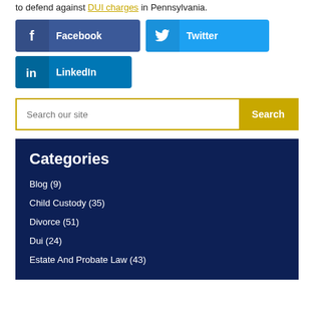to defend against DUI charges in Pennsylvania.
[Figure (other): Social media share buttons: Facebook (dark blue), Twitter (light blue), LinkedIn (blue)]
Search our site
Categories
Blog (9)
Child Custody (35)
Divorce (51)
Dui (24)
Estate And Probate Law (43)